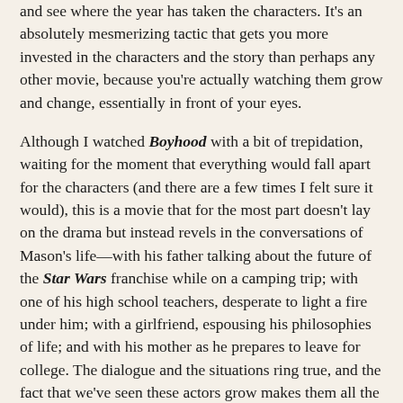and see where the year has taken the characters. It's an absolutely mesmerizing tactic that gets you more invested in the characters and the story than perhaps any other movie, because you're actually watching them grow and change, essentially in front of your eyes.
Although I watched Boyhood with a bit of trepidation, waiting for the moment that everything would fall apart for the characters (and there are a few times I felt sure it would), this is a movie that for the most part doesn't lay on the drama but instead revels in the conversations of Mason's life—with his father talking about the future of the Star Wars franchise while on a camping trip; with one of his high school teachers, desperate to light a fire under him; with a girlfriend, espousing his philosophies of life; and with his mother as he prepares to leave for college. The dialogue and the situations ring true, and the fact that we've seen these actors grow makes them all the more real.
With a running time of two hours and forty-two minutes, you're probably wondering if a movie that's a snapshot of a "real" life could hold your attention. It absolutely does, mainly because the performances are so riveting. Coltrane is truly a find; I can only wonder if Richard Linklater truly realized early on just what an old